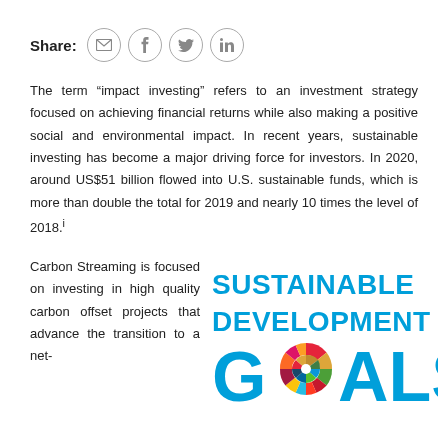Share: [email icon] [facebook icon] [twitter icon] [linkedin icon]
The term “impact investing” refers to an investment strategy focused on achieving financial returns while also making a positive social and environmental impact. In recent years, sustainable investing has become a major driving force for investors. In 2020, around US$51 billion flowed into U.S. sustainable funds, which is more than double the total for 2019 and nearly 10 times the level of 2018.i
Carbon Streaming is focused on investing in high quality carbon offset projects that advance the transition to a net-
[Figure (logo): United Nations Sustainable Development Goals (SDG) logo in blue text with colorful circle wheel in the letter O of GOALS]